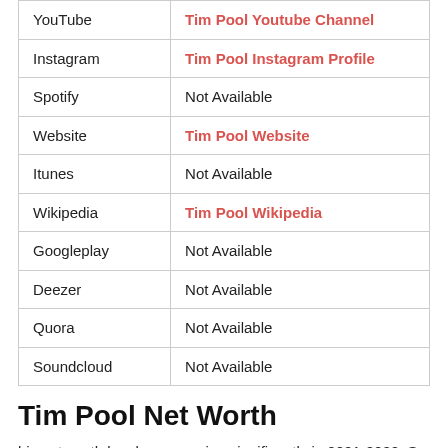|  |  |
| --- | --- |
| YouTube | Tim Pool Youtube Channel |
| Instagram | Tim Pool Instagram Profile |
| Spotify | Not Available |
| Website | Tim Pool Website |
| Itunes | Not Available |
| Wikipedia | Tim Pool Wikipedia |
| Googleplay | Not Available |
| Deezer | Not Available |
| Quora | Not Available |
| Soundcloud | Not Available |
Tim Pool Net Worth
his net worth has been growing significantly in 2021-2022. So, how much is Timothy Daniel Pool networth at the age of 35.